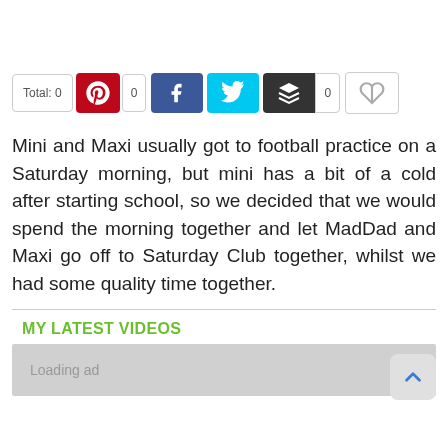[Figure (screenshot): Social share bar with Total: 0 counter, Pinterest button, Facebook button, Twitter button, layered share button with count 0, and a feather/share icon button]
Mini and Maxi usually got to football practice on a Saturday morning, but mini has a bit of a cold after starting school, so we decided that we would spend the morning together and let MadDad and Maxi go off to Saturday Club together, whilst we had some quality time together.
MY LATEST VIDEOS
Loading ad